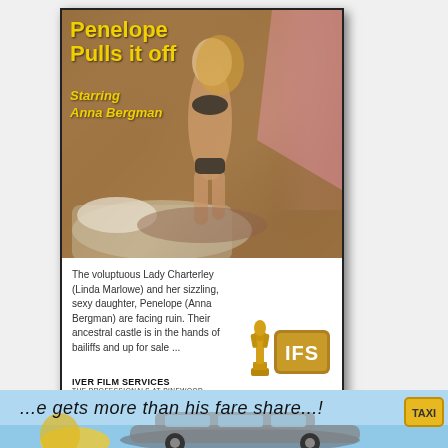[Figure (photo): VHS rental cassette cover for 'Penelope Pulls it off' featuring a woman in black bikini standing over a man on a bed, with pink drapes in the background. Below the photo is a synopsis, IFS logo with Oscar statuette, and IVER FILM SERVICES branding.]
Penelope Pulls it off
Starring Anna Bergman
The voluptuous Lady Charterley (Linda Marlowe) and her sizzling, sexy daughter, Penelope (Anna Bergman) are facing ruin. Their ancestral castle is in the hands of bailiffs and up for sale ...
IVER FILM SERVICES
THE PROFESSIONALS AT PINEWOOD
[Figure (illustration): Bottom banner strip with cursive text reading '...e gets more than his fare share...!' over a light blue background with a car and taxi badge visible, and blonde hair at left edge.]